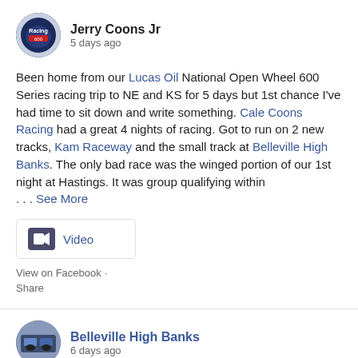[Figure (photo): Circular avatar image for Jerry Coons Jr, showing a racing helmet logo with 'Racing' text]
Jerry Coons Jr
5 days ago
Been home from our Lucas Oil National Open Wheel 600 Series racing trip to NE and KS for 5 days but 1st chance I've had time to sit down and write something. Cale Coons Racing had a great 4 nights of racing. Got to run on 2 new tracks, Kam Raceway and the small track at Belleville High Banks. The only bad race was the winged portion of our 1st night at Hastings. It was group qualifying within
... See More
[Figure (other): Video thumbnail placeholder with camera icon and 'Video' label]
View on Facebook ·
Share
[Figure (photo): Circular avatar image for Belleville High Banks page, showing racing cars]
Belleville High Banks
6 days ago